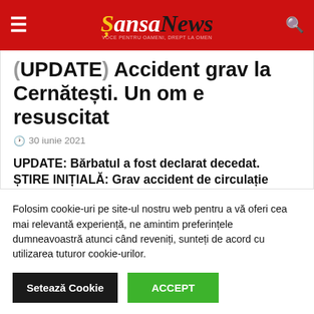SansaNews
(UPDATE) Accident grav la Cernătești. Un om e resuscitat
30 iunie 2021
UPDATE: Bărbatul a fost declarat decedat. ȘTIRE INIȚIALĂ: Grav accident de circulație produs miercuri pe DJ203K, la Cernătești.  Un pieton a fost lovit în plin...
Folosim cookie-uri pe site-ul nostru web pentru a vă oferi cea mai relevantă experiență, ne amintim preferințele dumneavoastră atunci când reveniți, sunteți de acord cu utilizarea tuturor cookie-urilor.
Setează Cookie
ACCEPT